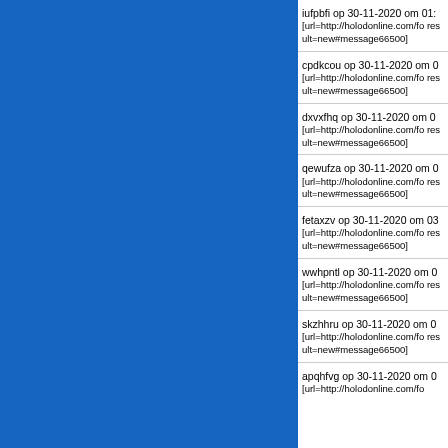[Figure (other): Blue rectangular panel on the left side of the page]
iufpbfi op 30-11-2020 om 01:
[url=http://holodonline.com/fo result=new#message66500]
cpdkcou op 30-11-2020 om 0
[url=http://holodonline.com/fo result=new#message66500]
dxvxfhq op 30-11-2020 om 0
[url=http://holodonline.com/fo result=new#message66500]
qewufza op 30-11-2020 om 0
[url=http://holodonline.com/fo result=new#message66500]
fetaxzv op 30-11-2020 om 03
[url=http://holodonline.com/fo result=new#message66500]
wwhpntl op 30-11-2020 om 0
[url=http://holodonline.com/fo result=new#message66500]
skzhhru op 30-11-2020 om 0
[url=http://holodonline.com/fo result=new#message66500]
apqhfvg op 30-11-2020 om 0
[url=http://holodonline.com/fo